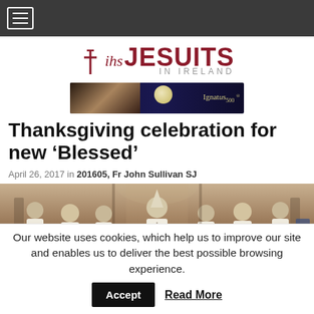Navigation menu (hamburger icon)
[Figure (logo): IHS Jesuits in Ireland logo with cross symbol]
[Figure (illustration): Ignatius500 advertisement banner with moon and figure]
Thanksgiving celebration for new 'Blessed'
April 26, 2017 in 201605, Fr John Sullivan SJ
[Figure (photo): Clergy in white vestments standing in church interior]
Our website uses cookies, which help us to improve our site and enables us to deliver the best possible browsing experience.
Accept  Read More